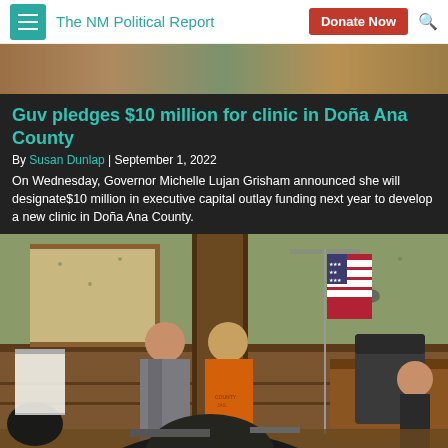The NM Political Report
[Figure (photo): Top banner photo strip showing partial outdoor scene]
Guv pledges $10 million for clinic in Doña Ana County
By Susan Dunlap | September 1, 2022
On Wednesday, Governor Michelle Lujan Grisham announced she will designate$10 million in executive capital outlay funding next year to develop a new clinic in Doña Ana County.
[Figure (photo): Courtroom scene showing a person in orange jail jumpsuit standing with a lawyer in a gray suit before a judge's bench, with an American flag visible, viewed from behind an observer in the foreground]